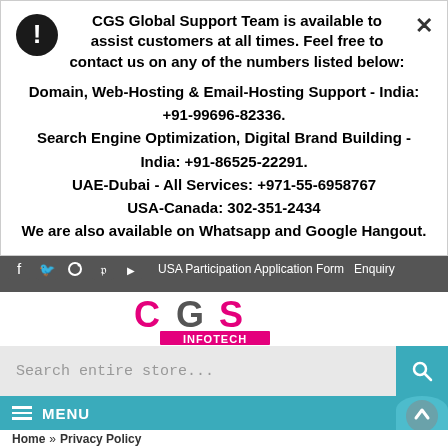CGS Global Support Team is available to assist customers at all times. Feel free to contact us on any of the numbers listed below:
Domain, Web-Hosting & Email-Hosting Support - India: +91-99696-82336.
Search Engine Optimization, Digital Brand Building - India: +91-86525-22291.
UAE-Dubai - All Services: +971-55-6958767
USA-Canada: 302-351-2434
We are also available on Whatsapp and Google Hangout.
[Figure (screenshot): Dark grey navigation bar with social media icons (Facebook, Twitter, Instagram, Pinterest, YouTube) and links: USA Participation Application Form, Enquiry]
[Figure (logo): CGS Infotech logo - CGS in pink/magenta and grey letters, INFOTECH on pink background, tagline: Your new success story!]
Search entire store...
MENU
Home » Privacy Policy